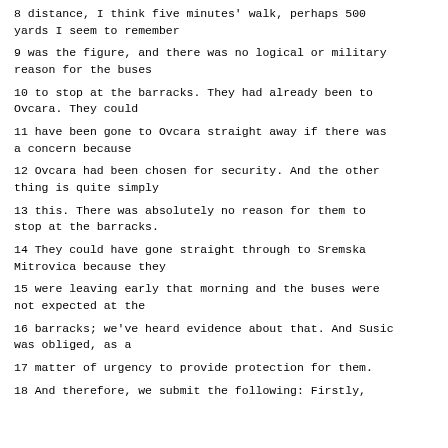8 distance, I think five minutes' walk, perhaps 500 yards I seem to remember
9 was the figure, and there was no logical or military reason for the buses
10 to stop at the barracks. They had already been to Ovcara. They could
11 have been gone to Ovcara straight away if there was a concern because
12 Ovcara had been chosen for security. And the other thing is quite simply
13 this. There was absolutely no reason for them to stop at the barracks.
14 They could have gone straight through to Sremska Mitrovica because they
15 were leaving early that morning and the buses were not expected at the
16 barracks; we've heard evidence about that. And Susic was obliged, as a
17 matter of urgency to provide protection for them.
18 And therefore, we submit the following: Firstly,